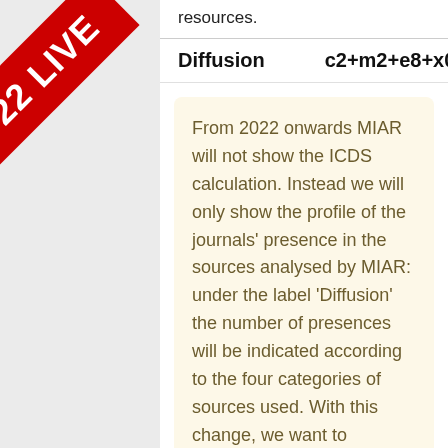resources.
Diffusion    c2+m2+e8+x0
From 2022 onwards MIAR will not show the ICDS calculation. Instead we will only show the profile of the journals' presence in the sources analysed by MIAR: under the label 'Diffusion' the number of presences will be indicated according to the four categories of sources used. With this change, we want to